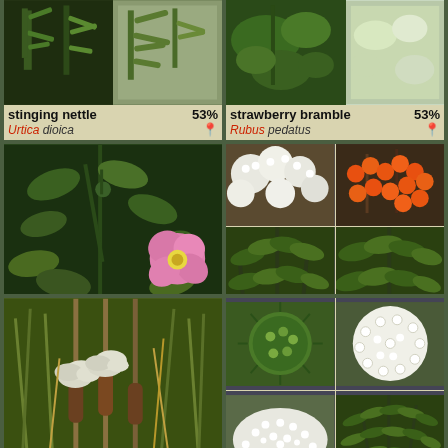[Figure (photo): stinging nettle plant photos - two images side by side]
stinging nettle 53%
Urtica dioica
[Figure (photo): strawberry bramble plant photos - two images side by side]
strawberry bramble 53%
Rubus pedatus
[Figure (photo): baldhip rose plant photo - single image of pink flower with leaves]
baldhip rose 52%
Rosa gymnocarpa
[Figure (photo): European mountain-ash plant photos - four images: white flowers, orange berries, leaves]
European mountain-ash 52%
Sorbus aucuparia
[Figure (photo): broadleaf cattail plant photo - cattail stalks with fluffy seeds]
broadleaf cattail 51%
[Figure (photo): plant identification photos - four images of white flowers and green leaves]